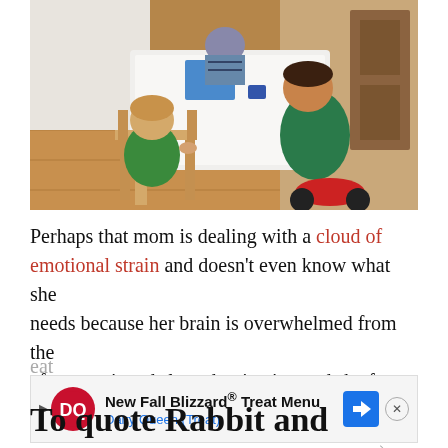[Figure (photo): Two young children at a small wooden table. A child in a green shirt sits in a wooden chair with back to camera. Another child in a green hoodie stands/sits on a red ride-on toy to the right. An adult or older child is partially visible seated at the far side of the table. Setting is a home interior with wood floors.]
Perhaps that mom is dealing with a cloud of emotional strain and doesn't even know what she needs because her brain is overwhelmed from the aforementioned sleep deprivation and she forgot to eat fo... ese were ... ar.)
[Figure (other): Advertisement banner: New Fall Blizzard® Treat Menu - Dairy Queen (Treat) with DQ logo and navigation arrow icon]
To quote Rabbit and